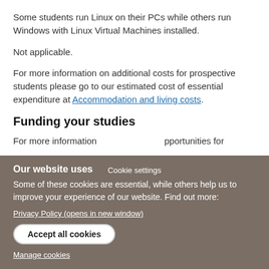Some students run Linux on their PCs while others run Windows with Linux Virtual Machines installed.
Not applicable.
For more information on additional costs for prospective students please go to our estimated cost of essential expenditure at Accommodation and living costs.
Funding your studies
For more information ... opportunities for
Cookie settings
Our website uses cookies
Some of these cookies are essential, while others help us to improve your experience of our website. Find out more:
Privacy Policy (opens in new window)
Accept all cookies
Manage cookies